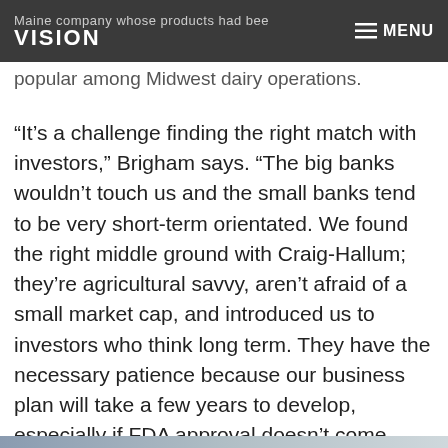VISION  ≡ MENU
Maine company whose products had been popular among Midwest dairy operations.
“It’s a challenge finding the right match with investors,” Brigham says. “The big banks wouldn’t touch us and the small banks tend to be very short-term orientated. We found the right middle ground with Craig-Hallum; they’re agricultural savvy, aren’t afraid of a small market cap, and introduced us to investors who think long term. They have the necessary patience because our business plan will take a few years to develop, especially if FDA approval doesn’t come forth until 2019.”